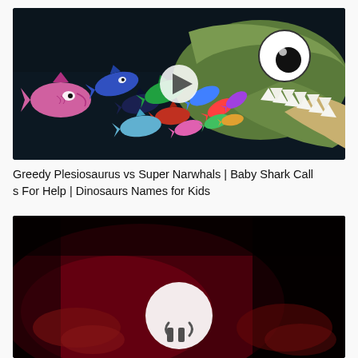[Figure (illustration): Animated cartoon thumbnail showing a large green Plesiosaurus with a big white eye and open mouth full of teeth, with colorful sharks (Baby Sharks) swimming into its mouth, including a prominent pink/purple baby shark on the left, set against a dark navy background.]
Greedy Plesiosaurus vs Super Narwhals | Baby Shark Calls For Help | Dinosaurs Names for Kids
[Figure (photo): Dark red-tinted video thumbnail showing hands and a circular white play button icon in the center, very dark and moody lighting.]